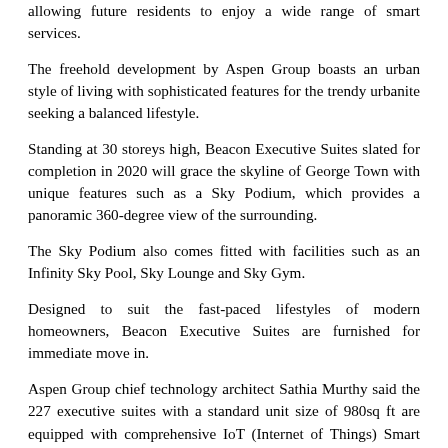allowing future residents to enjoy a wide range of smart services.
The freehold development by Aspen Group boasts an urban style of living with sophisticated features for the trendy urbanite seeking a balanced lifestyle.
Standing at 30 storeys high, Beacon Executive Suites slated for completion in 2020 will grace the skyline of George Town with unique features such as a Sky Podium, which provides a panoramic 360-degree view of the surrounding.
The Sky Podium also comes fitted with facilities such as an Infinity Sky Pool, Sky Lounge and Sky Gym.
Designed to suit the fast-paced lifestyles of modern homeowners, Beacon Executive Suites are furnished for immediate move in.
Aspen Group chief technology architect Sathia Murthy said the 227 executive suites with a standard unit size of 980sq ft are equipped with comprehensive IoT (Internet of Things) Smart Service Solutions for residents to subscribe based on their needs.